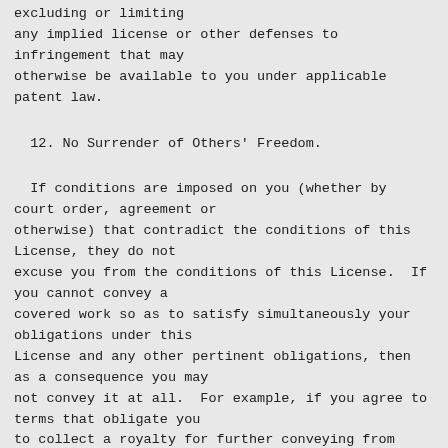excluding or limiting any implied license or other defenses to infringement that may otherwise be available to you under applicable patent law.
12. No Surrender of Others' Freedom.
If conditions are imposed on you (whether by court order, agreement or otherwise) that contradict the conditions of this License, they do not excuse you from the conditions of this License.  If you cannot convey a covered work so as to satisfy simultaneously your obligations under this License and any other pertinent obligations, then as a consequence you may not convey it at all.  For example, if you agree to terms that obligate you to collect a royalty for further conveying from those to whom you convey the Program, the only way you could satisfy both those terms and this License would be to refrain entirely from conveying the Program.